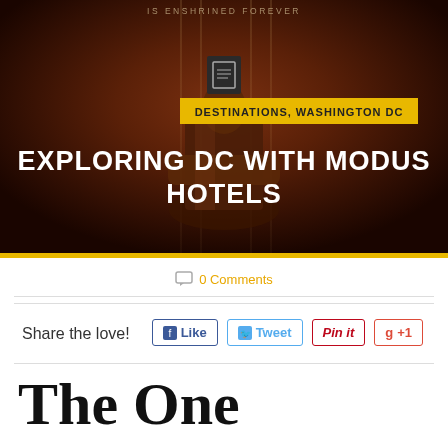[Figure (photo): Lincoln Memorial statue hero image with dark amber/brown tones, showing a large seated figure sculpture]
IS ENSHRINED FOREVER
DESTINATIONS, WASHINGTON DC
EXPLORING DC WITH MODUS HOTELS
0 Comments
Share the love!
Like
Tweet
Pin it
+1
The One